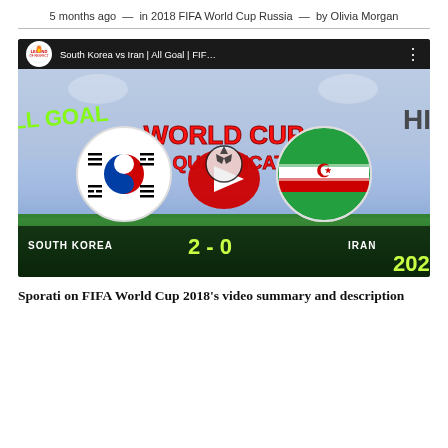5 months ago  —  in 2018 FIFA World Cup Russia  —  by Olivia Morgan
[Figure (screenshot): YouTube video thumbnail showing South Korea vs Iran | All Goal | FIF... with World Cup AFC Qualification text, South Korean and Iranian flags, YouTube play button, score South Korea 2 - 0 Iran, 2022 partial text visible]
Sporati on FIFA World Cup 2018's video summary and description